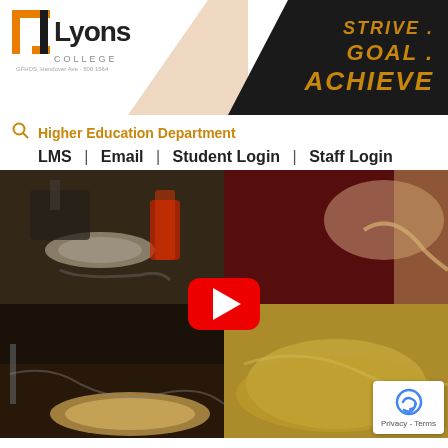[Figure (logo): Lyons College logo with orange bracket icon and black text 'Lyons College']
STRIVE . GOAL . ACHIEVE
Higher Education Department
LMS | Email | Student Login | Staff Login
[Figure (screenshot): Video thumbnail showing cooking/food preparation scenes split into four quadrants with a YouTube play button overlay]
[Figure (other): reCAPTCHA badge with Privacy and Terms links]